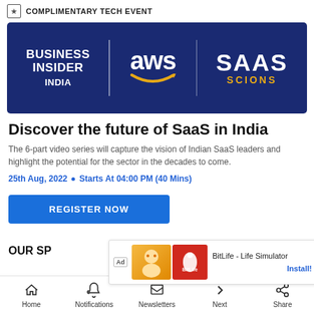★ COMPLIMENTARY TECH EVENT
[Figure (logo): Banner with Business Insider India, AWS, and SaaS Scions logos on dark navy background]
Discover the future of SaaS in India
The 6-part video series will capture the vision of Indian SaaS leaders and highlight the potential for the sector in the decades to come.
25th Aug, 2022 • Starts At 04:00 PM (40 Mins)
REGISTER NOW
OUR SP
[Figure (screenshot): Ad overlay: BitLife - Life Simulator app ad with Install! button]
Home   Notifications   Newsletters   Next   Share